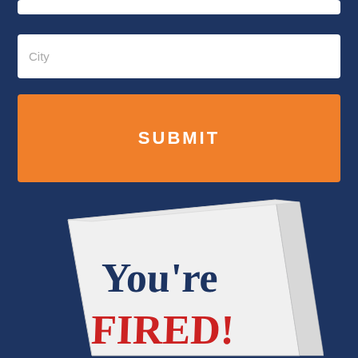[Figure (screenshot): A white input field (partially visible at top of page)]
[Figure (screenshot): A white input field with placeholder text 'City']
SUBMIT
[Figure (illustration): A hardcover book tilted slightly, white cover with 'You're FIRED!' text in navy and red serif font]